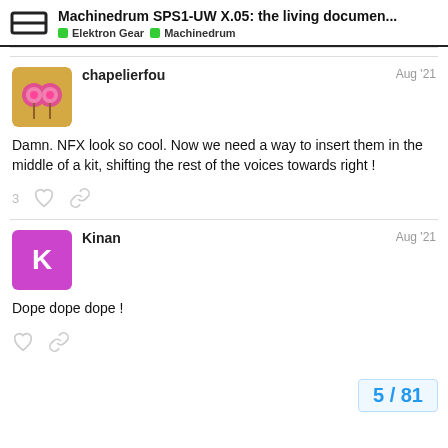Machinedrum SPS1-UW X.05: the living documen... | Elektron Gear | Machinedrum
chapelierfou — Aug '21
Damn. NFX look so cool. Now we need a way to insert them in the middle of a kit, shifting the rest of the voices towards right !
Kinan — Aug '21
Dope dope dope !
5 / 81